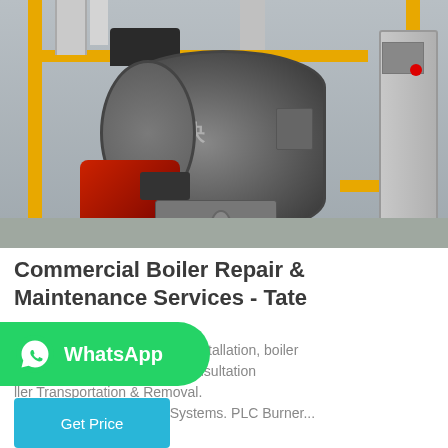[Figure (photo): Industrial boiler room with a large horizontal grey boiler cylinder, red burner unit, yellow safety railings, pipe work, and a control cabinet on the right side. Chinese characters visible on the boiler.]
Commercial Boiler Repair & Maintenance Services - Tate
We offer the following boiler installation, boiler and boiler repair services: Consultation ller Transportation & Removal. Boiler Integrated Control Systems. PLC Burner...